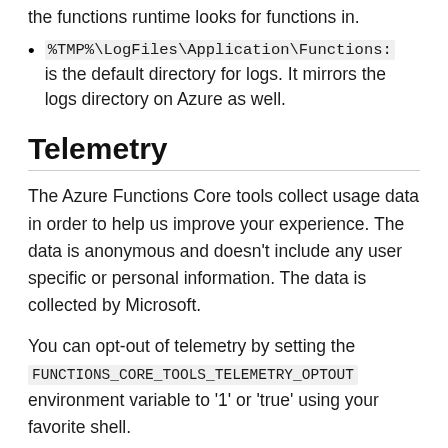%TMP%\LogFiles\Application\Functions: is the default directory for logs. It mirrors the logs directory on Azure as well.
Telemetry
The Azure Functions Core tools collect usage data in order to help us improve your experience. The data is anonymous and doesn't include any user specific or personal information. The data is collected by Microsoft.
You can opt-out of telemetry by setting the FUNCTIONS_CORE_TOOLS_TELEMETRY_OPTOUT environment variable to '1' or 'true' using your favorite shell.